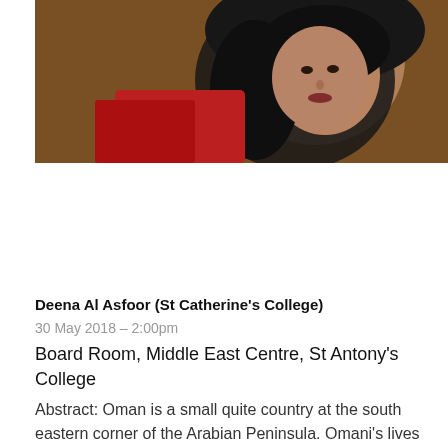[Figure (photo): Portrait photo of a woman wearing a black hijab and red top, photographed indoors against a wooden background]
Deena Al Asfoor (St Catherine's College)
30 May 2018 – 2:00pm
Board Room, Middle East Centre, St Antony's College
Abstract: Oman is a small quite country at the south eastern corner of the Arabian Peninsula. Omani's lives